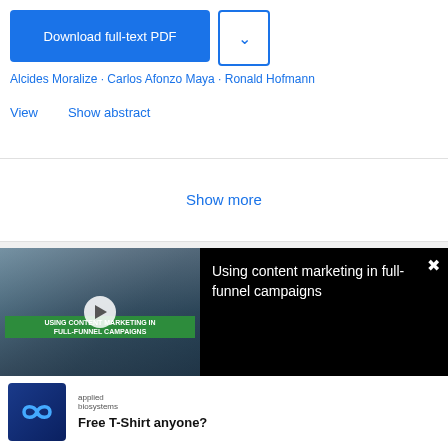Download full-text PDF
Alcides Moralize · Carlos Afonzo Maya · Ronald Hofmann
View    Show abstract
Show more
[Figure (screenshot): Video thumbnail showing office scene with people working at desks, green banner overlay reading 'USING CONTENT MARKETING IN FULL-FUNNEL CAMPAIGNS', play button in center]
Using content marketing in full-funnel campaigns
[Figure (logo): Applied Biosystems logo — infinity symbol on blue background with 'applied biosystems' text]
Free T-Shirt anyone?